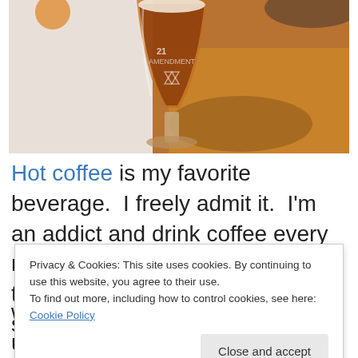[Figure (photo): Photo of a branded beer/coffee glass on a wooden table, with amber liquid inside and a decorative logo on the glass.]
Hot coffee is my favorite beverage.  I freely admit it.  I'm an addict and drink coffee every morning.  Sometimes, adults like to add more than just cream or sugar to their
Privacy & Cookies: This site uses cookies. By continuing to use this website, you agree to their use.
To find out more, including how to control cookies, see here: Cookie Policy
Close and accept
with some cream.  Here, it's usually real cream or milk and